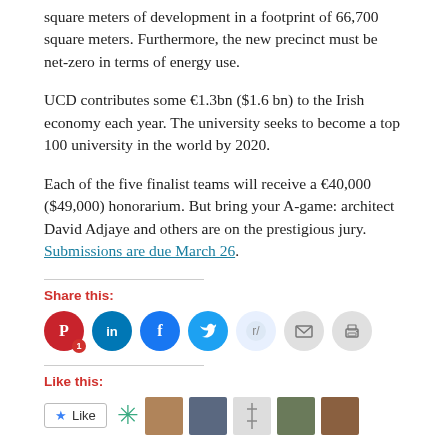square meters of development in a footprint of 66,700 square meters. Furthermore, the new precinct must be net-zero in terms of energy use.
UCD contributes some €1.3bn ($1.6 bn) to the Irish economy each year. The university seeks to become a top 100 university in the world by 2020.
Each of the five finalist teams will receive a €40,000 ($49,000) honorarium. But bring your A-game: architect David Adjaye and others are on the prestigious jury. Submissions are due March 26.
Share this:
[Figure (infographic): Social share buttons: Pinterest (with badge 1), LinkedIn, Facebook, Twitter, Reddit, Email, Print]
Like this:
[Figure (infographic): Like button with star icon, decorative snowflake icon, and row of user avatars]